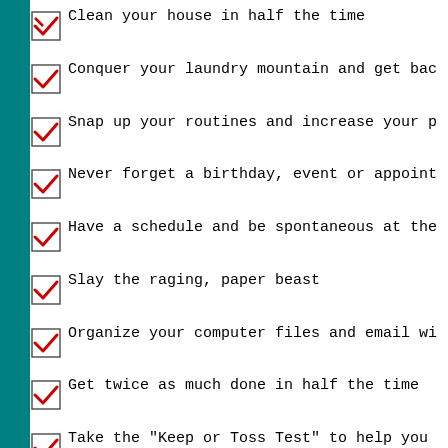Clean your house in half the time
Conquer your laundry mountain and get bac
Snap up your routines and increase your p
Never forget a birthday, event or appoint
Have a schedule and be spontaneous at the
Slay the raging, paper beast
Organize your computer files and email wi
Get twice as much done in half the time
Take the "Keep or Toss Test" to help you determine what's clutter and what's not
How to reduce your junk mail, both offlin by sixty percent or more
The secret to getting your whole family i